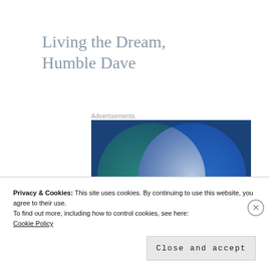Living the Dream,
Humble Dave
Advertisements
[Figure (illustration): Venn diagram advertisement with two overlapping circles on a dark blue background. Left circle (teal/green): 'Everything you need'. Right circle (blue): 'Anything you want'. Overlap shown in lighter blue/white.]
Privacy & Cookies: This site uses cookies. By continuing to use this website, you agree to their use.
To find out more, including how to control cookies, see here:
Cookie Policy
Close and accept